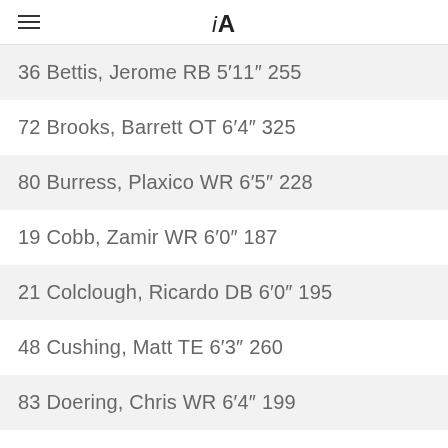iA
36 Bettis, Jerome RB 5′11″ 255
72 Brooks, Barrett OT 6′4″ 325
80 Burress, Plaxico WR 6′5″ 228
19 Cobb, Zamir WR 6′0″ 187
21 Colclough, Ricardo DB 6′0″ 195
48 Cushing, Matt TE 6′3″ 260
83 Doering, Chris WR 6′4″ 199